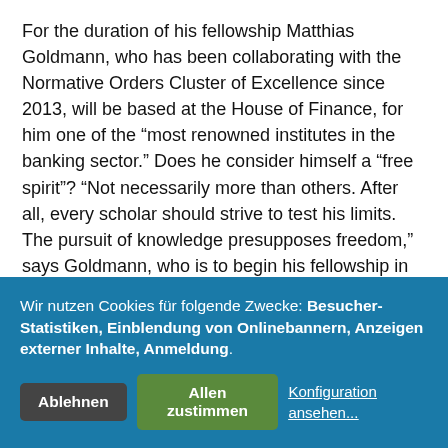For the duration of his fellowship Matthias Goldmann, who has been collaborating with the Normative Orders Cluster of Excellence since 2013, will be based at the House of Finance, for him one of the “most renowned institutes in the banking sector.” Does he consider himself a “free spirit”? “Not necessarily more than others. After all, every scholar should strive to test his limits. The pursuit of knowledge presupposes freedom,” says Goldmann, who is to begin his fellowship in January 2016.
Dr. Nikolas Gestrich
Dr. Nikolas Gestrich is to return from the UK for his ‘Freigeist’ project. The 31-year-old German-British scholar grew up in Stuttgart and studied Archeology in Durham, going on to complete his Master’s at University College London. It was here that he also obtained his doctorate, with a thesis on the topic “The Archaeology of So attracted conce stude Now comp ‘Eri
Wir nutzen Cookies für folgende Zwecke: Besucher-Statistiken, Einblendung von Onlinebannern, Anzeigen externer Inhalte, Anmeldung.